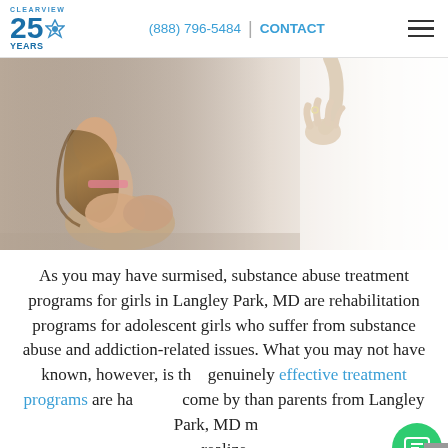CLEARVIEW 25 YEARS | (888) 796-5484 | CONTACT
[Figure (photo): A young woman sitting with her head bowed and knees drawn up, with an outstretched hand reaching toward her from above, suggesting support or help. Soft, light-filled background.]
As you may have surmised, substance abuse treatment programs for girls in Langley Park, MD are rehabilitation programs for adolescent girls who suffer from substance abuse and addiction-related issues. What you may not have known, however, is that genuinely effective treatment programs are harder to come by than parents from Langley Park, MD may realize.